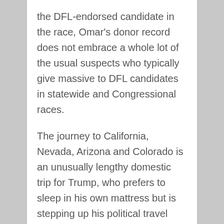the DFL-endorsed candidate in the race, Omar's donor record does not embrace a whole lot of the usual suspects who typically give massive to DFL candidates in statewide and Congressional races.
The journey to California, Nevada, Arizona and Colorado is an unusually lengthy domestic trip for Trump, who prefers to sleep in his own mattress but is stepping up his political travel now that his impeachment trial is over. And the fortunes of many economies are actually more tightly sure to their greatest trading buddy-China-than to America. Now which you could wager legally